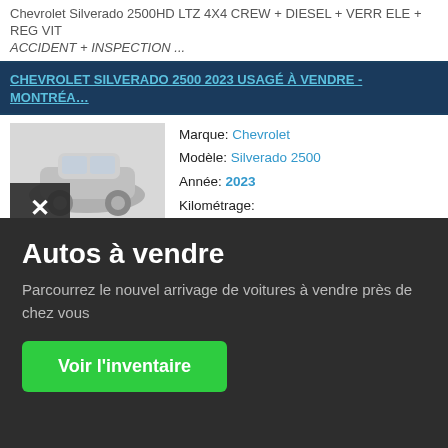Chevrolet Silverado 2500HD LTZ 4X4 CREW + DIESEL + VERR ELE + REG VIT + SANS ACCIDENT + INSPECTION ...
CHEVROLET SILVERADO 2500 2023 USAGÉ À VENDRE - MONTRÉA...
[Figure (photo): Vehicle listing card showing a Chevrolet Silverado 2500 with an X overlay in the bottom-left corner of the image. Vehicle details listed: Marque: Chevrolet, Modèle: Silverado 2500, Année: 2023, Kilométrage: (blank), Transmission: automatique.]
Autos à vendre
Parcourrez le nouvel arrivage de voitures à vendre près de chez vous
Voir l'inventaire